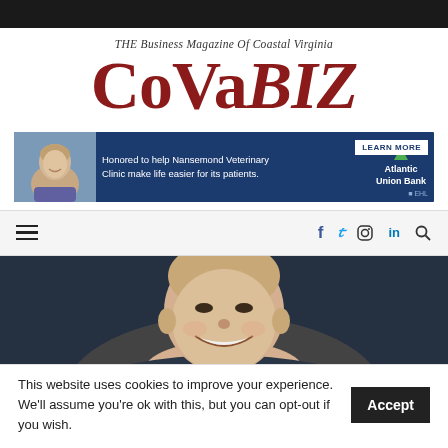THE Business Magazine Of Coastal Virginia — CoVaBIZ
[Figure (logo): CoVaBIZ magazine logo with tagline 'THE Business Magazine Of Coastal Virginia']
[Figure (infographic): Atlantic Union Bank advertisement banner: 'Honored to help Nansemond Veterinary Clinic make life easier for its patients.' with LEARN MORE button and equal housing lender logo]
[Figure (infographic): Navigation bar with hamburger menu icon on left and social media icons (Facebook, Twitter, Instagram, LinkedIn, Search) on right]
[Figure (photo): Partial photo of a bald smiling man against a dark background]
This website uses cookies to improve your experience. We'll assume you're ok with this, but you can opt-out if you wish.